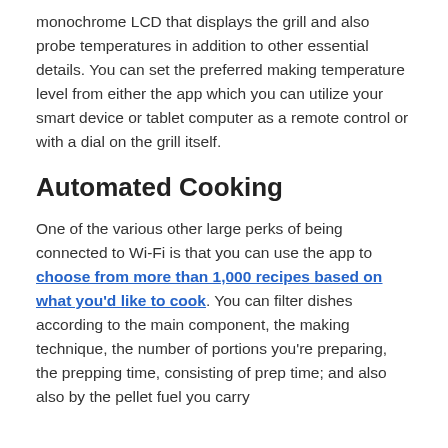monochrome LCD that displays the grill and also probe temperatures in addition to other essential details. You can set the preferred making temperature level from either the app which you can utilize your smart device or tablet computer as a remote control or with a dial on the grill itself.
Automated Cooking
One of the various other large perks of being connected to Wi-Fi is that you can use the app to choose from more than 1,000 recipes based on what you'd like to cook. You can filter dishes according to the main component, the making technique, the number of portions you're preparing, the prepping time, consisting of prep time; and also also by the pellet fuel you carry